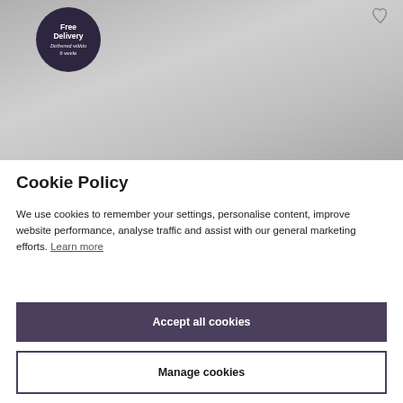[Figure (photo): Photograph of a grey upholstered armchair with a 'Free Delivery – Delivered within 6 weeks' circular badge overlaid on the top-left. A heart/wishlist icon is in the top-right corner.]
Cookie Policy
We use cookies to remember your settings, personalise content, improve website performance, analyse traffic and assist with our general marketing efforts. Learn more
Accept all cookies
Manage cookies